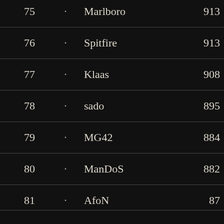| Rank |  | Name | Score |
| --- | --- | --- | --- |
| 75 | · | Marlboro | 913 |
| 76 | · | Spitfire | 913 |
| 77 | · | Klaas | 908 |
| 78 | · | sado | 895 |
| 79 | · | MG42 | 884 |
| 80 | · | ManDoS | 882 |
| 81 | · | AfoN | 87… |